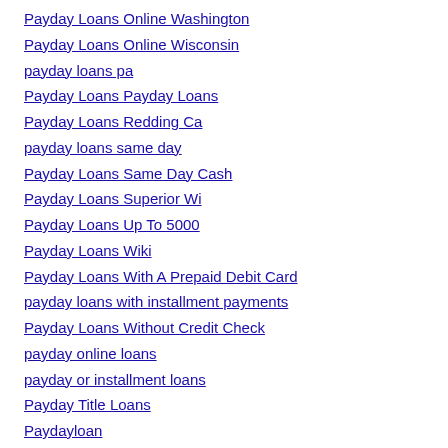Payday Loans Online Washington
Payday Loans Online Wisconsin
payday loans pa
Payday Loans Payday Loans
Payday Loans Redding Ca
payday loans same day
Payday Loans Same Day Cash
Payday Loans Superior Wi
Payday Loans Up To 5000
Payday Loans Wiki
Payday Loans With A Prepaid Debit Card
payday loans with installment payments
Payday Loans Without Credit Check
payday online loans
payday or installment loans
Payday Title Loans
Paydayloan
paydayloan online
paydayloans